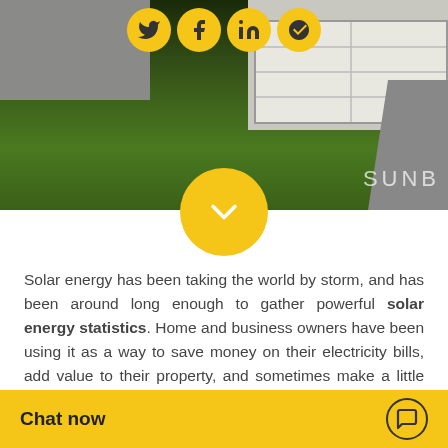[Figure (photo): Hero image of a residential home with green lawn, grey siding, white garage door, and driveway. Social media share icons (Twitter, Facebook, LinkedIn, Pinterest) shown as yellow circles at the top. Yellow circular chevron/down-arrow button overlapping the bottom of the image. Partial 'SUNB' text watermark visible at bottom right.]
Solar energy has been taking the world by storm, and has been around long enough to gather powerful solar energy statistics. Home and business owners have been using it as a way to save money on their electricity bills, add value to their property, and sometimes make a little money from the utility company. It seems that if solar continues to improve, i... most homes. Who wou...
[Figure (other): Chat now bar at the bottom with golden/yellow background, bold text 'Chat now' and a chat bubble icon on the right.]